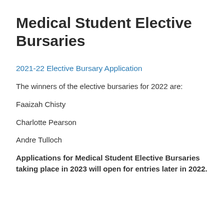Medical Student Elective Bursaries
2021-22 Elective Bursary Application
The winners of the elective bursaries for 2022 are:
Faaizah Chisty
Charlotte Pearson
Andre Tulloch
Applications for Medical Student Elective Bursaries taking place in 2023 will open for entries later in 2022.